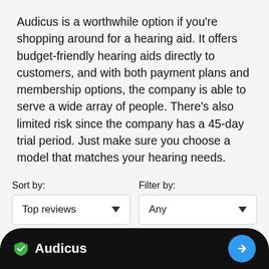Audicus is a worthwhile option if you're shopping around for a hearing aid. It offers budget-friendly hearing aids directly to customers, and with both payment plans and membership options, the company is able to serve a wide array of people. There's also limited risk since the company has a 45-day trial period. Just make sure you choose a model that matches your hearing needs.
Sort by:
Filter by:
[Figure (screenshot): Sort by dropdown showing 'Top reviews' with a downward arrow]
[Figure (screenshot): Filter by dropdown showing 'Any' with a downward arrow]
[Figure (screenshot): Black bottom bar with Audicus shield logo and name on the left, blue circular arrow button on the right]